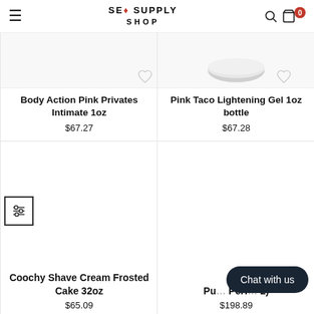SEA SUPPLY SHOP
Body Action Pink Privates Intimate 1oz
$67.27
Pink Taco Lightening Gel 1oz bottle
$67.28
Coochy Shave Cream Frosted Cake 32oz
$65.09
Pu... Perf... (2)
$198.89
Chat with us